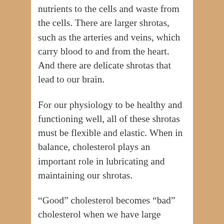nutrients to the cells and waste from the cells. There are larger shrotas, such as the arteries and veins, which carry blood to and from the heart. And there are delicate shrotas that lead to our brain.
For our physiology to be healthy and functioning well, all of these shrotas must be flexible and elastic. When in balance, cholesterol plays an important role in lubricating and maintaining our shrotas.
“Good” cholesterol becomes “bad” cholesterol when we have large amounts of ama in our system. Ama is the sticky waste product of poor digestion, absorption and metabolism. It accumulates as a toxin in the fat tissues. Ama